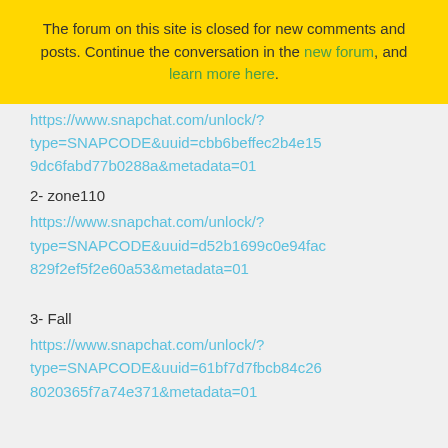The forum on this site is closed for new comments and posts. Continue the conversation in the new forum, and learn more here.
https://www.snapchat.com/unlock/?type=SNAPCODE&uuid=cbb6beffec2b4e159dc6fabd77b0288a&metadata=01
2- zone110
https://www.snapchat.com/unlock/?type=SNAPCODE&uuid=d52b1699c0e94fac829f2ef5f2e60a53&metadata=01
3- Fall
https://www.snapchat.com/unlock/?type=SNAPCODE&uuid=61bf7d7fbcb84c268020365f7a74e371&metadata=01